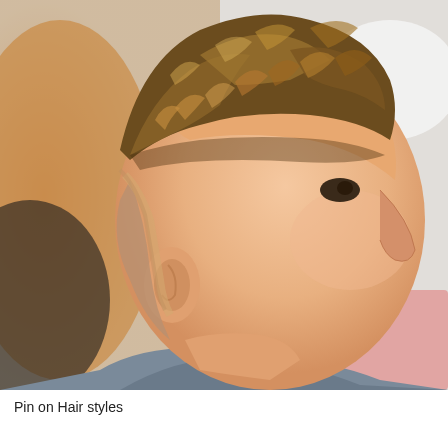[Figure (photo): Side profile photo of a young male with a textured, curly brown fringe on top and a high skin fade haircut. The hair transitions from thick, wavy/curly hair on top to a very close-cropped fade on the sides and back. The background is blurred with warm tones on the left and white/light tones on the right. The subject is wearing a grey shirt and faces to the right.]
Pin on Hair styles